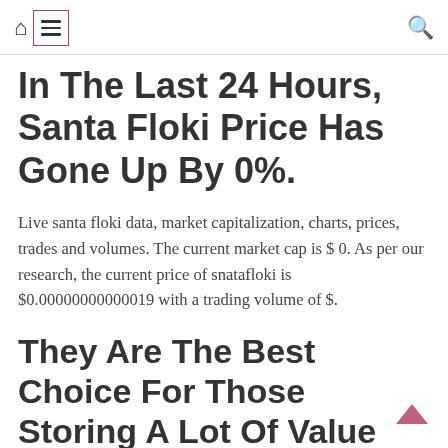Home | Menu | Search
In The Last 24 Hours, Santa Floki Price Has Gone Up By 0%.
Live santa floki data, market capitalization, charts, prices, trades and volumes. The current market cap is $ 0. As per our research, the current price of snatafloki is $0.00000000000019 with a trading volume of $.
They Are The Best Choice For Those Storing A Lot Of Value